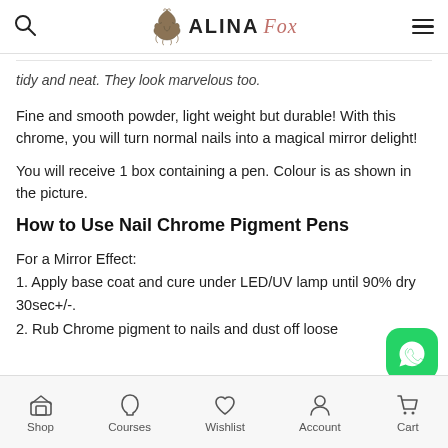ALINA Fox — Search and Menu navigation
tidy and neat. They look marvelous too.
Fine and smooth powder, light weight but durable! With this chrome, you will turn normal nails into a magical mirror delight!
You will receive 1 box containing a pen. Colour is as shown in the picture.
How to Use Nail Chrome Pigment Pens
For a Mirror Effect:
1. Apply base coat and cure under LED/UV lamp until 90% dry 30sec+/-.
2. Rub Chrome pigment to nails and dust off loose
Shop | Courses | Wishlist | Account | Cart